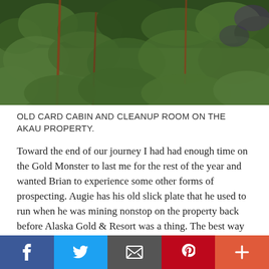[Figure (photo): Photograph of dense green foliage and shrubs, appearing to be on the Akau property in Alaska. Dark green leaves with some reddish stems visible.]
OLD CARD CABIN AND CLEANUP ROOM ON THE AKAU PROPERTY.
Toward the end of our journey I had had enough time on the Gold Monster to last me for the rest of the year and wanted Brian to experience some other forms of prospecting. Augie has his old slick plate that he used to run when he was mining nonstop on the property back before Alaska Gold & Resort was a thing. The best way to describe it is a massive high-banker that takes two people to operate from inside
[Figure (infographic): Social media share bar with five buttons: Facebook (blue), Twitter (light blue), Email (dark grey), Pinterest (red), and More/Plus (orange-red).]